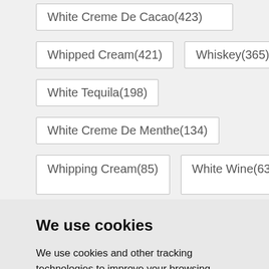White Creme De Cacao(423)
Whipped Cream(421)
Whiskey(365)
White Tequila(198)
White Creme De Menthe(134)
Whipping Cream(85)
White Wine(63)
We use cookies
We use cookies and other tracking technologies to improve your browsing experience on our website, to show you personalized content and targeted ads, to analyze our website traffic, and to understand where our visitors are coming from.